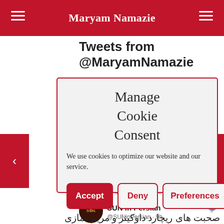Maryam Namazie
Tweets from @MaryamNamazie
Manage Cookie Consent
We use cookies to optimize our website and our service.
Accept | Deny | Preferences
مريم نازي Maryam Namazie Retweeted
SUN in Persian @SUNinPersian · 9h
صحبت های ریچارد داوکینز و مریم نمازی